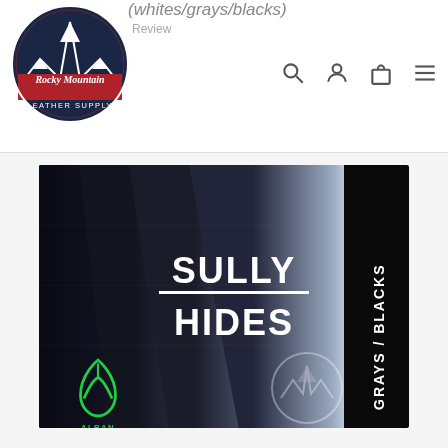(whites/grays/blacks)
Review
[Figure (logo): Rocky Mountain Leather Supply circular logo with mountain peaks and red banner]
[Figure (photo): Sully Hides product image showing layered leather hides in grays and blacks with text SULLY HIDES and GRAYS / BLACKS side label, Alran France and Rocky Mountain Leather Supply logos]